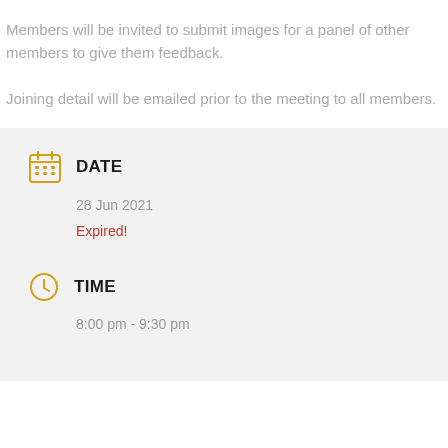Members will be invited to submit images for a panel of other members to give them feedback.
Joining detail will be emailed prior to the meeting to all members.
DATE
28 Jun 2021
Expired!
TIME
8:00 pm - 9:30 pm